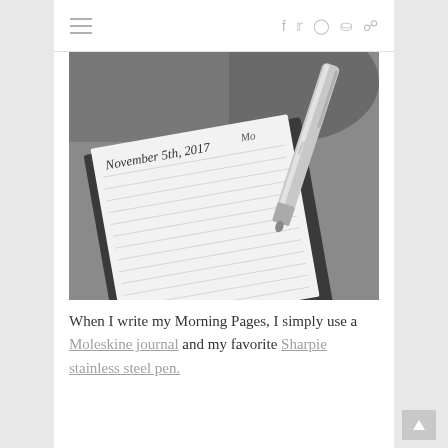≡  f  t  ○  P  RSS
[Figure (photo): Black and white photo of an open Moleskine journal with handwritten text 'November 5th, 2017 Monday' on the first line, a Sharpie stainless steel pen resting on the right side, placed on a dark textured fabric surface.]
When I write my Morning Pages, I simply use a Moleskine journal and my favorite Sharpie stainless steel pen.